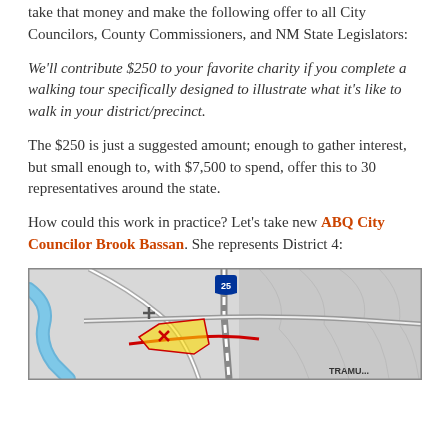take that money and make the following offer to all City Councilors, County Commissioners, and NM State Legislators:
We'll contribute $250 to your favorite charity if you complete a walking tour specifically designed to illustrate what it's like to walk in your district/precinct.
The $250 is just a suggested amount; enough to gather interest, but small enough to, with $7,500 to spend, offer this to 30 representatives around the state.
How could this work in practice? Let's take new ABQ City Councilor Brook Bassan. She represents District 4:
[Figure (map): Street map showing ABQ District 4 area with Interstate 25 shield marker, a yellow highlighted district area, blue river, roads, and partial label 'TRAMU...' at bottom right.]